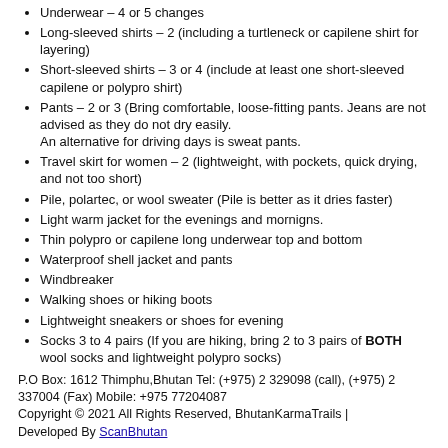Underwear – 4 or 5 changes
Long-sleeved shirts – 2 (including a turtleneck or capilene shirt for layering)
Short-sleeved shirts – 3 or 4 (include at least one short-sleeved capilene or polypro shirt)
Pants – 2 or 3 (Bring comfortable, loose-fitting pants. Jeans are not advised as they do not dry easily. An alternative for driving days is sweat pants.
Travel skirt for women – 2 (lightweight, with pockets, quick drying, and not too short)
Pile, polartec, or wool sweater (Pile is better as it dries faster)
Light warm jacket for the evenings and mornigns.
Thin polypro or capilene long underwear top and bottom
Waterproof shell jacket and pants
Windbreaker
Walking shoes or hiking boots
Lightweight sneakers or shoes for evening
Socks 3 to 4 pairs (If you are hiking, bring 2 to 3 pairs of BOTH wool socks and lightweight polypro socks)
P.O Box: 1612 Thimphu,Bhutan Tel: (+975) 2 329098 (call), (+975) 2 337004 (Fax) Mobile: +975 77204087 Copyright © 2021 All Rights Reserved, BhutanKarmaTrails | Developed By ScanBhutan